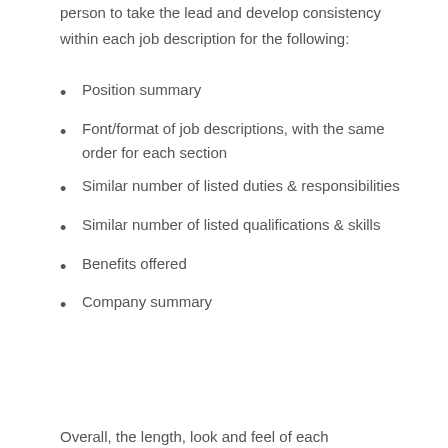person to take the lead and develop consistency within each job description for the following:
Position summary
Font/format of job descriptions, with the same order for each section
Similar number of listed duties & responsibilities
Similar number of listed qualifications & skills
Benefits offered
Company summary
Overall, the length, look and feel of each